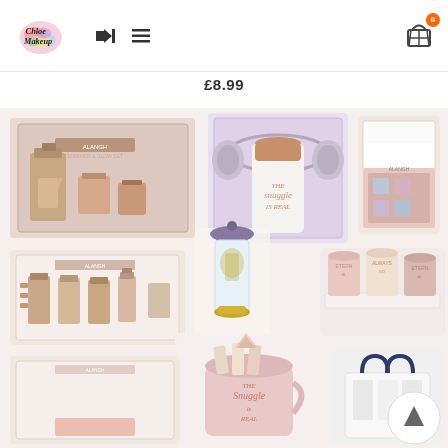[Figure (logo): Chloe Makeup colorful logo with splatter design]
£8.99
[Figure (photo): Grid of beauty and lifestyle gift sets including perfume/candle sets, mug with earmuffs gift set reading 'The Snuggle is Real', sock sets, nail polish sets, tea infuser, candle trio set reading 'ALWAYS', tote bag, and other gift products in pink and rose gold tones]